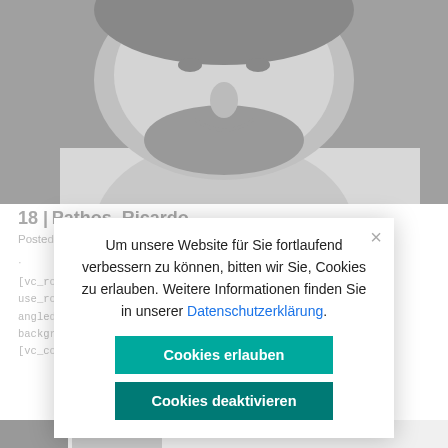[Figure (photo): Black and white portrait photo of a bearded man, cropped to face and upper body, partially obscured by cookie consent overlay]
18 | Pathos, Ricardo
Posted ... iter
.
[vc_row css_animation="" row_type="row" use_row_as_full_scre... ype="full_width" angled_section="no"... background_image_... attern"] [vc_column][/vc_column][/vc_row]...
Um unsere Website für Sie fortlaufend verbessern zu können, bitten wir Sie, Cookies zu erlauben. Weitere Informationen finden Sie in unserer Datenschutzerklärung.
Cookies erlauben
Cookies deaktivieren